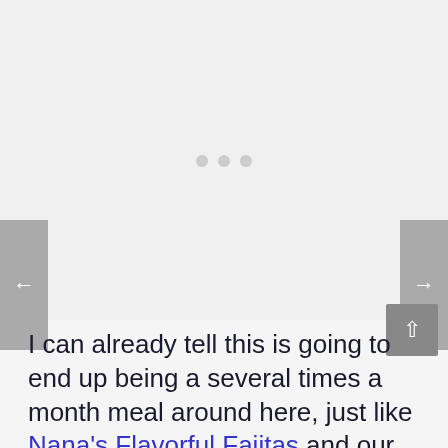[Figure (other): Image carousel placeholder area with three dot indicators and left/right navigation arrows on grey background]
I can already tell this is going to end up being a several times a month meal around here, just like Nana's Flavorful Fajitas and our Family Favorite Meatloaf.  Give it a try and see if it replaces your old favorite spaghetti